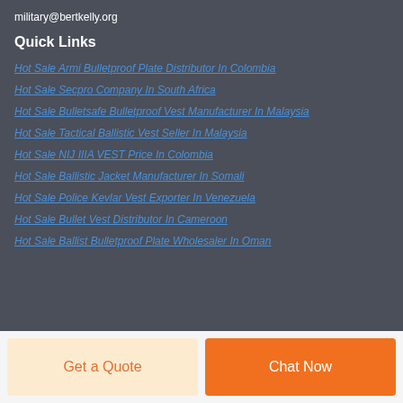military@bertkelly.org
Quick Links
Hot Sale Armi Bulletproof Plate Distributor In Colombia
Hot Sale Secpro Company In South Africa
Hot Sale Bulletsafe Bulletproof Vest Manufacturer In Malaysia
Hot Sale Tactical Ballistic Vest Seller In Malaysia
Hot Sale NIJ IIIA VEST Price In Colombia
Hot Sale Ballistic Jacket Manufacturer In Somali
Hot Sale Police Kevlar Vest Exporter In Venezuela
Hot Sale Bullet Vest Distributor In Cameroon
Hot Sale Ballist Bulletproof Plate Wholesaler In Oman
Get a Quote
Chat Now